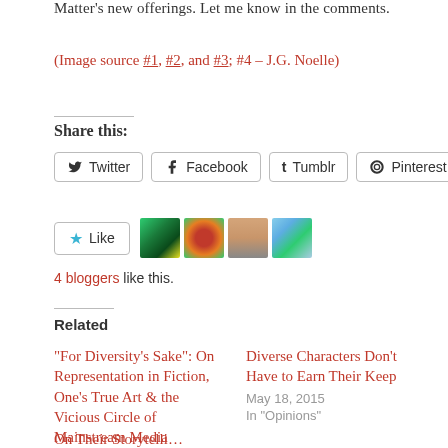Matter's new offerings. Let me know in the comments.
(Image source #1, #2, and #3; #4 – J.G. Noelle)
Share this:
Twitter  Facebook  Tumblr  Pinterest 1
Like  [4 blogger avatars]
4 bloggers like this.
Related
"For Diversity's Sake": On Representation in Fiction, One's True Art & the Vicious Circle of Mainstream Media
May 12, 2014
In "Opinions"
Diverse Characters Don't Have to Earn Their Keep
May 18, 2015
In "Opinions"
On Their Storytelli…